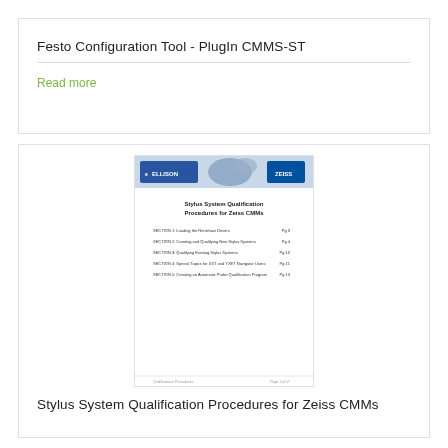Festo Configuration Tool - PlugIn CMMS-ST
Read more
[Figure (screenshot): Thumbnail of document titled 'Stylus System Qualification Procedures for Zeiss CMMs' showing Ellison and Zeiss logos at top and table of contents with 5 sections]
Stylus System Qualification Procedures for Zeiss CMMs